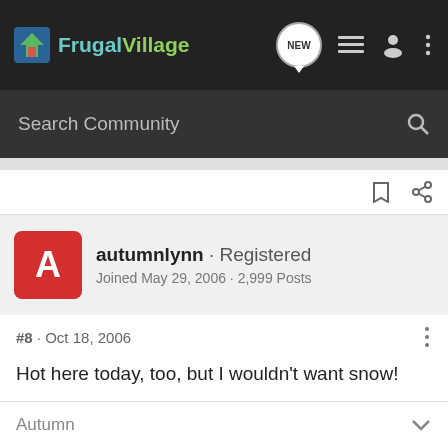FrugalVillage — NEW
Search Community
autumnlynn · Registered
Joined May 29, 2006 · 2,999 Posts
#8 · Oct 18, 2006
Hot here today, too, but I wouldn't want snow!
Autumn